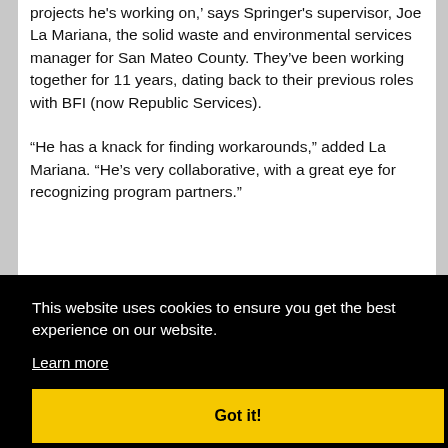projects he's working on,’ says Springer's supervisor, Joe La Mariana, the solid waste and environmental services manager for San Mateo County. They’ve been working together for 11 years, dating back to their previous roles with BFI (now Republic Services).
“He has a knack for finding workarounds,” added La Mariana. “He’s very collaborative, with a great eye for recognizing program partners.”
This website uses cookies to ensure you get the best experience on our website.
Learn more
Got it!
era,” says Springer. “We lived in the forest above